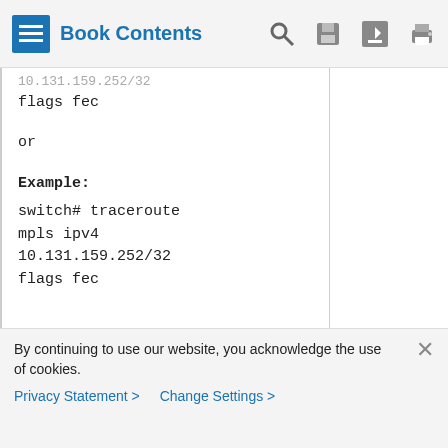Book Contents
| 10.131.159.252/32
flags fec

or

Example:
switch# traceroute mpls ipv4 10.131.159.252/32 flags fec |  |
Using LSP Ping to Detect LSP Breakages Caused by Untagged Interfaces
By continuing to use our website, you acknowledge the use of cookies.
Privacy Statement > Change Settings >